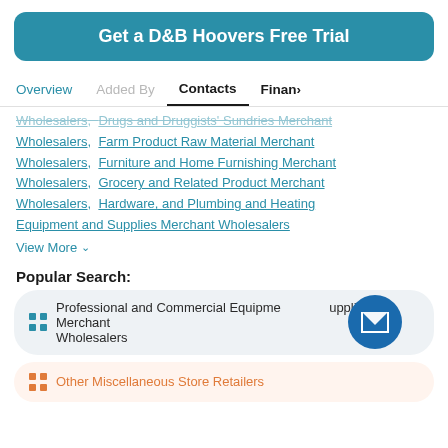Get a D&B Hoovers Free Trial
Overview | Added By | Contacts | Finan>
Wholesalers, Drugs and Druggists' Sundries Merchant Wholesalers, Farm Product Raw Material Merchant Wholesalers, Furniture and Home Furnishing Merchant Wholesalers, Grocery and Related Product Merchant Wholesalers, Hardware, and Plumbing and Heating Equipment and Supplies Merchant Wholesalers
View More
Popular Search:
Professional and Commercial Equipment and Supplies Merchant Wholesalers
Other Miscellaneous Store Retailers